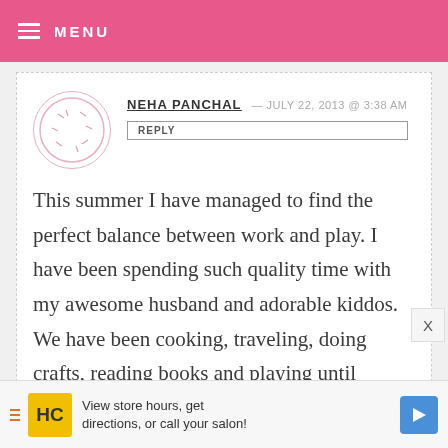MENU
NEHA PANCHAL — JULY 22, 2013 @ 3:38 AM
REPLY

This summer I have managed to find the perfect balance between work and play. I have been spending such quality time with my awesome husband and adorable kiddos. We have been cooking, traveling, doing crafts, reading books and playing until beyond exhaustion! Loving this summer and
[Figure (other): Advertisement banner: View store hours, get directions, or call your salon!]